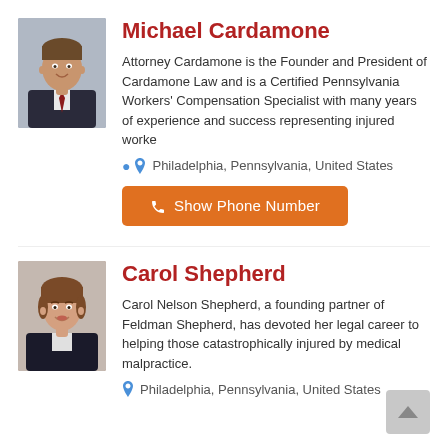[Figure (photo): Headshot of Michael Cardamone, male attorney in dark suit with red tie, smiling]
Michael Cardamone
Attorney Cardamone is the Founder and President of Cardamone Law and is a Certified Pennsylvania Workers' Compensation Specialist with many years of experience and success representing injured worke
Philadelphia, Pennsylvania, United States
Show Phone Number
[Figure (photo): Headshot of Carol Shepherd, female attorney with short brown hair, smiling, dark jacket]
Carol Shepherd
Carol Nelson Shepherd, a founding partner of Feldman Shepherd, has devoted her legal career to helping those catastrophically injured by medical malpractice.
Philadelphia, Pennsylvania, United States